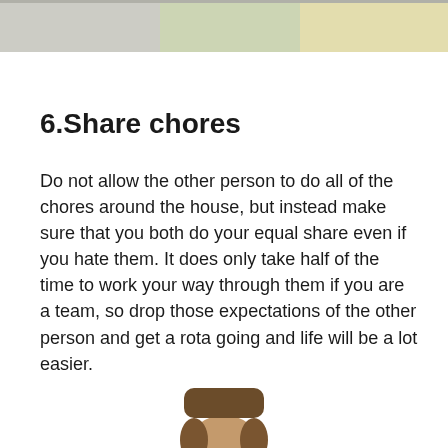[Figure (photo): Partial photo at the top of the page showing muted colors (white, green, yellow tones) — a cropped image, likely of people or objects.]
6.Share chores
Do not allow the other person to do all of the chores around the house, but instead make sure that you both do your equal share even if you hate them. It does only take half of the time to work your way through them if you are a team, so drop those expectations of the other person and get a rota going and life will be a lot easier.
[Figure (photo): Partial photo at the bottom of the page showing the top of a person's head with brown hair.]